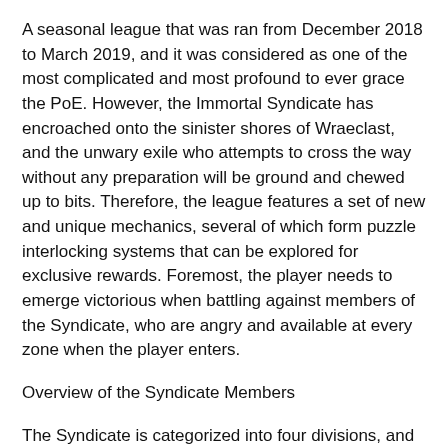A seasonal league that was ran from December 2018 to March 2019, and it was considered as one of the most complicated and most profound to ever grace the PoE. However, the Immortal Syndicate has encroached onto the sinister shores of Wraeclast, and the unwary exile who attempts to cross the way without any preparation will be ground and chewed up to bits. Therefore, the league features a set of new and unique mechanics, several of which form puzzle interlocking systems that can be explored for exclusive rewards. Foremost, the player needs to emerge victorious when battling against members of the Syndicate, who are angry and available at every zone when the player enters.
Overview of the Syndicate Members
The Syndicate is categorized into four divisions, and each comes with unique abilities, play-styles, and